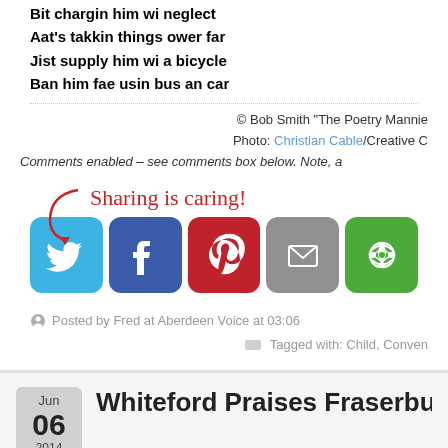Bit chargin him wi neglect
Aat's takkin things ower far
Jist supply him wi a bicycle
Ban him fae usin bus an car
© Bob Smith "The Poetry Mannie"
Photo: Christian Cable/Creative C
Comments enabled – see comments box below. Note, a
[Figure (infographic): Sharing is caring! with social media share buttons: Twitter (blue), Facebook (dark blue), Pinterest (red), Email (grey), More (green)]
Posted by Fred at Aberdeen Voice at 03:06
Tagged with: Child, Conven
Whiteford Praises Fraserburgh Fo
Information, Opinion